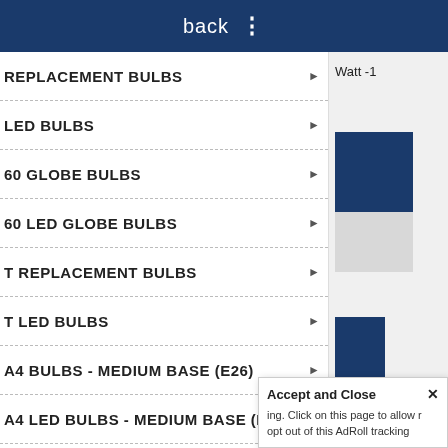back ⋮
REPLACEMENT BULBS
LED BULBS
60 GLOBE BULBS
60 LED GLOBE BULBS
T REPLACEMENT BULBS
T LED BULBS
A4 BULBS - MEDIUM BASE (E26)
A4 LED BULBS - MEDIUM BASE (E26)
Watt -1
Accept and Close ✕
ing. Click on this page to allow r opt out of this AdRoll tracking